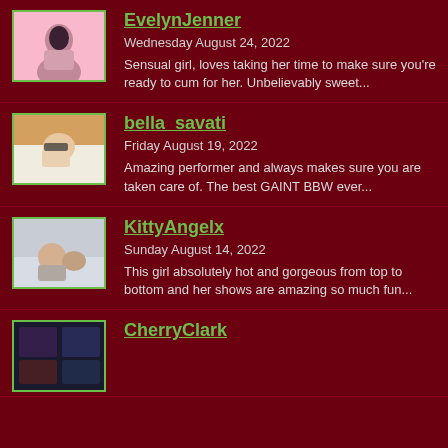[Figure (photo): Thumbnail photo of EvelynJenner on pink background]
EvelynJenner
Wednesday August 24, 2022
Sensual girl, loves taking her time to make sure you're ready to cum for her. Unbelievably sweet...
[Figure (photo): Thumbnail photo of bella_savati with glasses on bed]
bella_savati
Friday August 19, 2022
Amazing performer and always makes sure you are taken care of. The best GAINT BBW ever...
[Figure (photo): Thumbnail photo of KittyAngelx on bed]
KittyAngelx
Sunday August 14, 2022
This girl absolutely hot and gorgeous from top to bottom and her shows are amazing so much fun...
[Figure (photo): Thumbnail photo of CherryClark]
CherryClark